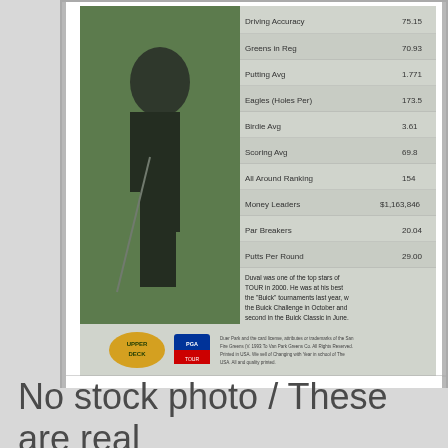[Figure (photo): A graded sports trading card (golf card) shown from the back, encased in a plastic slab. The card back shows a golfer's statistics including Driving Accuracy, Greens in Reg, Putting Avg, Eagles (Holes Per), Birdie Avg, Scoring Avg, All Around Ranking, Money Leaders, Par Breakers, Putts Per Round, along with descriptive text and Upper Deck / PGA Tour logos at the bottom.]
No stock photo / These are real